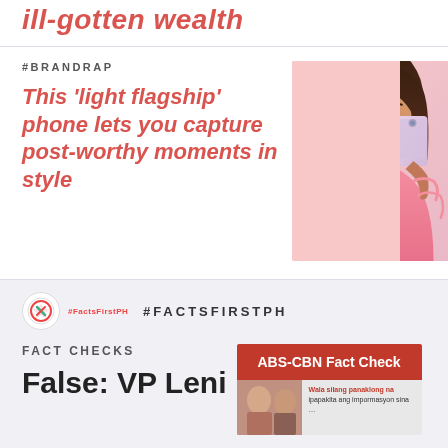ill-gotten wealth
#BRANDRAP
This ‘light flagship’ phone lets you capture post-worthy moments in style
[Figure (photo): Young woman in pink one-shoulder dress holding a smartphone, on a pink/lavender gradient background]
#FACTSFIRSTPH
FACT CHECKS
False: VP Leni
[Figure (screenshot): ABS-CBN Fact Check box with red header and thumbnail image showing two people and Filipino text]